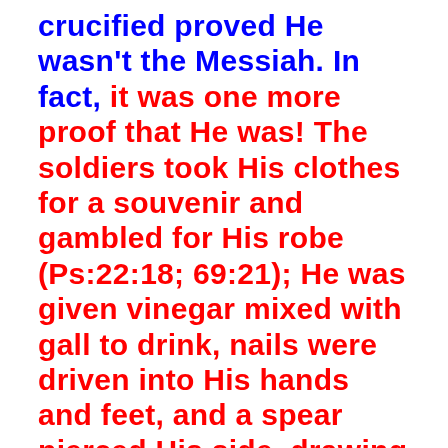crucified proved He wasn't the Messiah. In fact, it was one more proof that He was! The soldiers took His clothes for a souvenir and gambled for His robe (Ps:22:18; 69:21); He was given vinegar mixed with gall to drink, nails were driven into His hands and feet, and a spear pierced His side, drawing forth the blood of our